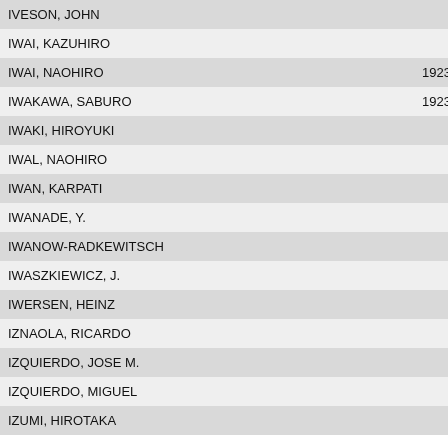| Name |  |  | Year | Action |
| --- | --- | --- | --- | --- |
| IVESON, JOHN |  |  |  | Detail |
| IWAI, KAZUHIRO |  |  |  | Detail |
| IWAI, NAOHIRO |  |  | 1923 | Detail |
| IWAKAWA, SABURO |  |  | 1923 | Detail |
| IWAKI, HIROYUKI |  |  |  | Detail |
| IWAL, NAOHIRO |  |  |  | Detail |
| IWAN, KARPATI |  |  |  | Detail |
| IWANADE, Y. |  |  |  | Detail |
| IWANOW-RADKEWITSCH |  |  |  | Detail |
| IWASZKIEWICZ, J. |  |  |  | Detail |
| IWERSEN, HEINZ |  |  |  | Detail |
| IZNAOLA, RICARDO |  |  |  | Detail |
| IZQUIERDO, JOSE M. |  |  |  | Detail |
| IZQUIERDO, MIGUEL |  |  |  | Detail |
| IZUMI, HIROTAKA |  |  |  | Detail |